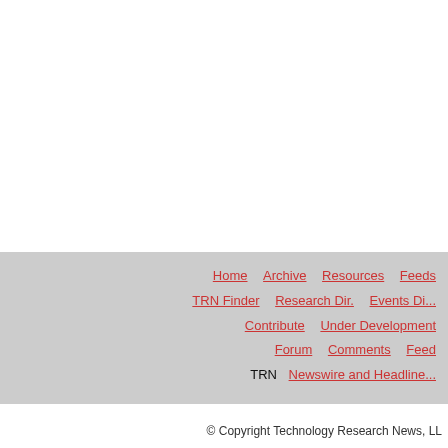Home   Archive   Resources   Feeds   TRN Finder   Research Dir.   Events Dir.   Contribute   Under Development   Forum   Comments   Feed   TRN Newswire and Headlines
© Copyright Technology Research News, LL